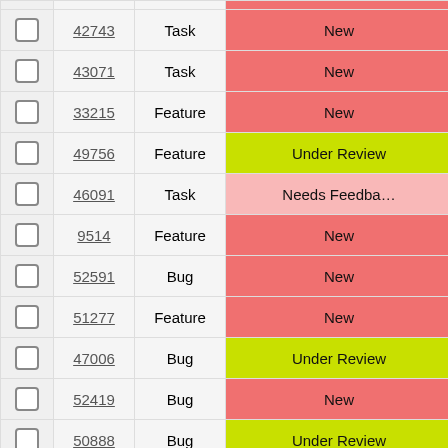|  | ID | Type | Status |
| --- | --- | --- | --- |
| ☐ | 42743 | Task | New |
| ☐ | 43071 | Task | New |
| ☐ | 33215 | Feature | New |
| ☐ | 49756 | Feature | Under Review |
| ☐ | 46091 | Task | Needs Feedback |
| ☐ | 9514 | Feature | New |
| ☐ | 52591 | Bug | New |
| ☐ | 51277 | Feature | New |
| ☐ | 47006 | Bug | Under Review |
| ☐ | 52419 | Bug | New |
| ☐ | 50888 | Bug | Under Review |